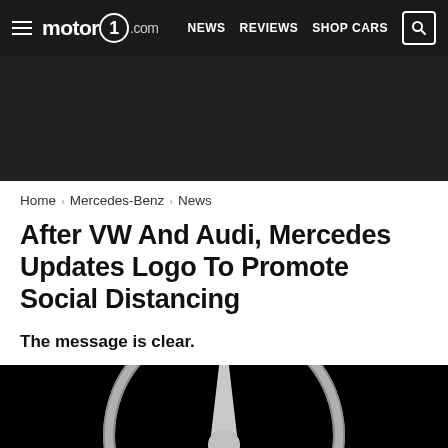motor1.com  NEWS  REVIEWS  SHOP CARS
[Figure (other): Dark banner/advertisement area]
Home > Mercedes-Benz > News
After VW And Audi, Mercedes Updates Logo To Promote Social Distancing
The message is clear.
[Figure (photo): Mercedes-Benz three-pointed star logo on black background, shown partially cropped at bottom of page]